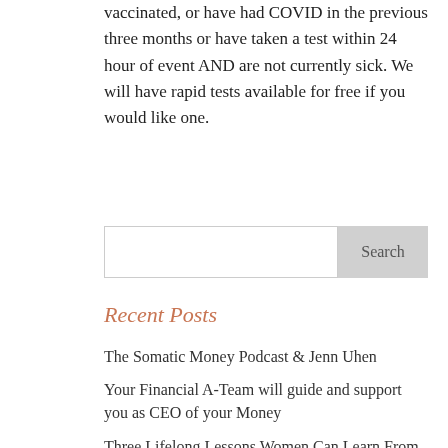vaccinated, or have had COVID in the previous three months or have taken a test within 24 hour of event AND are not currently sick. We will have rapid tests available for free if you would like one.
Search
Recent Posts
The Somatic Money Podcast & Jenn Uhen
Your Financial A-Team will guide and support you as CEO of your Money
Three Lifelong Lessons Women Can Learn From An Accounting Degree
Financial A-Team Q&A: Estate Planning Attorney Pamela Maass Garrett